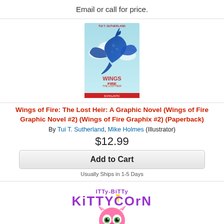Email or call for price.
[Figure (illustration): Book cover: Wings of Fire: The Lost Heir graphic novel, showing a blue dragon with wings spread against a teal sky background.]
Wings of Fire: The Lost Heir: A Graphic Novel (Wings of Fire Graphic Novel #2) (Wings of Fire Graphix #2) (Paperback)
By Tui T. Sutherland, Mike Holmes (Illustrator)
$12.99
Add to Cart
Usually Ships in 1-5 Days
[Figure (illustration): Itty-Bitty Kitty-Corn logo with pink cartoon cat face below it]